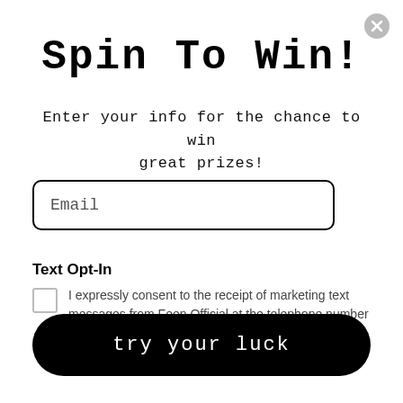[Figure (other): Close button (X) in grey circle, top right corner]
Spin To Win!
Enter your info for the chance to win great prizes!
[Figure (other): Email input field with rounded border]
Text Opt-In
I expressly consent to the receipt of marketing text messages from Feen Official at the telephone number I have provided.
try your luck